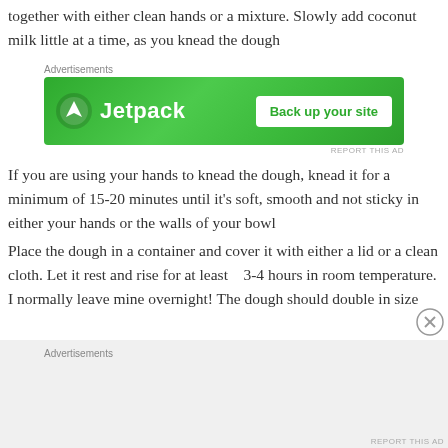together with either clean hands or a mixture. Slowly add coconut milk little at a time, as you knead the dough
[Figure (other): Jetpack advertisement banner with green background, logo and 'Back up your site' button]
If you are using your hands to knead the dough, knead it for a minimum of 15-20 minutes until it’s soft, smooth and not sticky in either your hands or the walls of your bowl
Place the dough in a container and cover it with either a lid or a clean cloth. Let it rest and rise for at least   3-4 hours in room temperature. I normally leave mine overnight! The dough should double in size
[Figure (other): Bottom advertisement area with gray background]